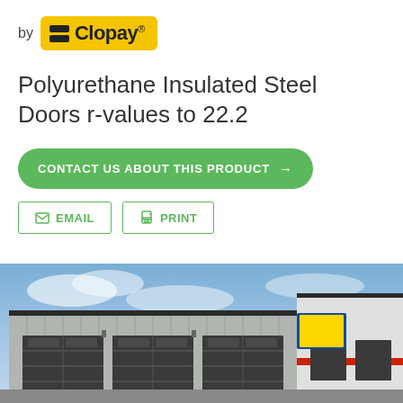[Figure (logo): Clopay logo on yellow background with text 'by Clopay']
Polyurethane Insulated Steel Doors r-values to 22.2
CONTACT US ABOUT THIS PRODUCT →
EMAIL   PRINT
[Figure (photo): Commercial building with Clopay insulated steel garage doors installed, showing multiple dark-framed sectional doors on a grey metal building at dusk/dawn with blue sky]